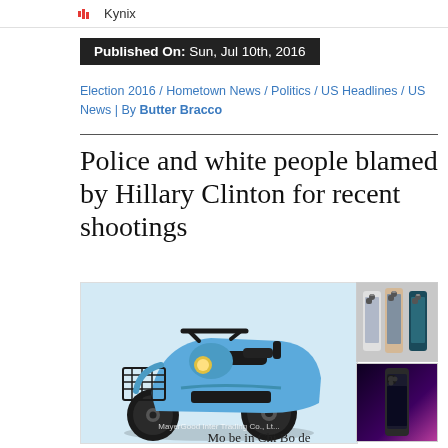Kynix
Published On: Sun, Jul 10th, 2016
Election 2016 / Hometown News / Politics / US Headlines / US News | By Butter Bracco
Police and white people blamed by Hillary Clinton for recent shootings
[Figure (photo): Blue electric scooter/moped with front basket and rear seat, with watermark text 'MayerGood Inter Trading Co. Lt...']
[Figure (photo): Advertisement images showing iPhone models in various colors]
Mo be in Chi Bo de